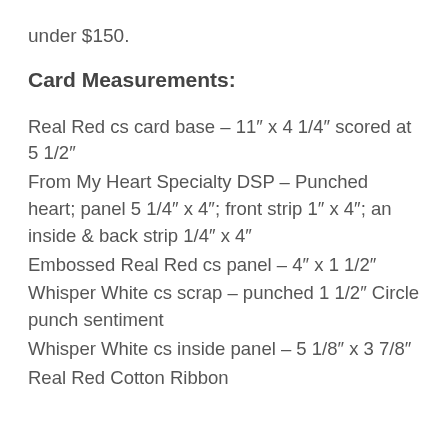under $150.
Card Measurements:
Real Red cs card base – 11″ x 4 1/4″ scored at 5 1/2″
From My Heart Specialty DSP – Punched heart; panel 5 1/4″ x 4″; front strip 1″ x 4″; an inside & back strip 1/4″ x 4″
Embossed Real Red cs panel – 4″ x 1 1/2″
Whisper White cs scrap – punched 1 1/2″ Circle punch sentiment
Whisper White cs inside panel – 5 1/8″ x 3 7/8″
Real Red Cotton Ribbon